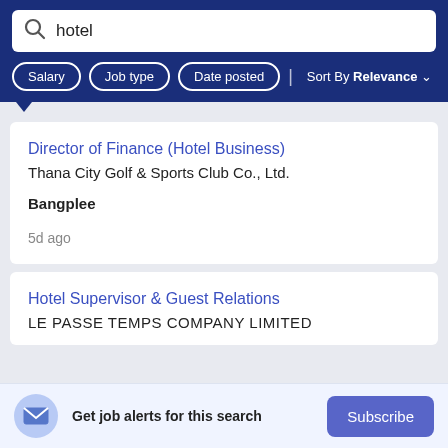[Figure (screenshot): Search bar with text 'hotel' and search icon on dark blue background]
Salary | Job type | Date posted | Sort By Relevance
Director of Finance (Hotel Business)
Thana City Golf & Sports Club Co., Ltd.
Bangplee
5d ago
Hotel Supervisor & Guest Relations
LE PASSE TEMPS COMPANY LIMITED
Get job alerts for this search
Subscribe